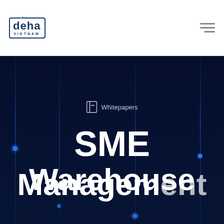[Figure (logo): Deha Vietnam logo — rectangular border with 'deha' text and green checkmark accent, 'VIETNAM' subtitle below]
[Figure (screenshot): Navigation hamburger menu icon (three horizontal lines, right-aligned)]
[Figure (illustration): Dark navy hero background with vertical glowing blue lines and dot nodes forming a network/circuit pattern]
Whitepapers
SME Warehouse Management